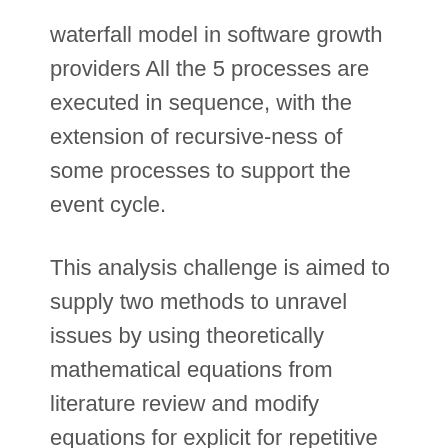waterfall model in software growth providers All the 5 processes are executed in sequence, with the extension of recursive-ness of some processes to support the event cycle.
This analysis challenge is aimed to supply two methods to unravel issues by using theoretically mathematical equations from literature review and modify equations for explicit for repetitive failure, BDM, PPM and tools productiveness. Second means CMMs software program is to design which is completely reliable; predictable critical elements for not only now, but additionally long run function. The outcomes when it comes to system assist facility